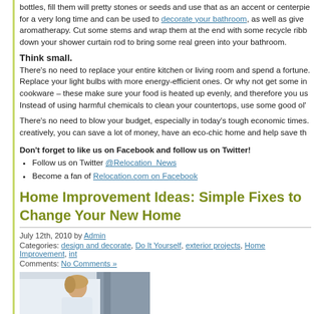bottles, fill them will pretty stones or seeds and use that as an accent or centerpiece for a very long time and can be used to decorate your bathroom, as well as give aromatherapy. Cut some stems and wrap them at the end with some recycle ribbons down your shower curtain rod to bring some real green into your bathroom.
Think small.
There's no need to replace your entire kitchen or living room and spend a fortune. Replace your light bulbs with more energy-efficient ones. Or why not get some induction cookware – these make sure your food is heated up evenly, and therefore you use less. Instead of using harmful chemicals to clean your countertops, use some good ol'
There's no need to blow your budget, especially in today's tough economic times. By thinking creatively, you can save a lot of money, have an eco-chic home and help save th
Don't forget to like us on Facebook and follow us on Twitter!
Follow us on Twitter @Relocation_News
Become a fan of Relocation.com on Facebook
Home Improvement Ideas: Simple Fixes to Change Your New Home
July 12th, 2010 by Admin
Categories: design and decorate, Do It Yourself, exterior projects, Home Improvement, int
Comments: No Comments »
[Figure (photo): Photo of a woman, partially visible, with blonde hair, standing near a white surface and a grey/blue building exterior.]